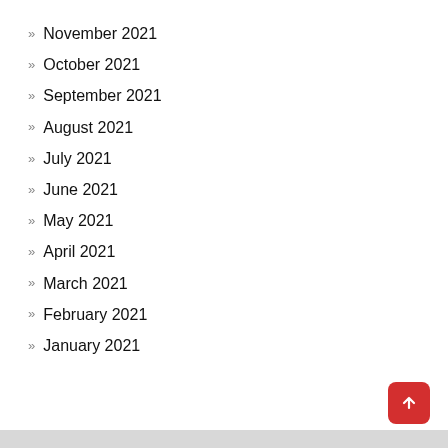November 2021
October 2021
September 2021
August 2021
July 2021
June 2021
May 2021
April 2021
March 2021
February 2021
January 2021